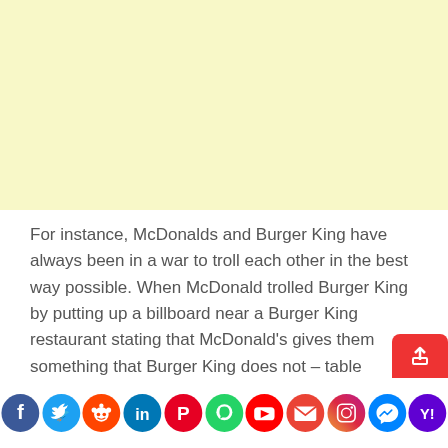[Figure (other): Yellow/cream colored advertisement banner placeholder]
For instance, McDonalds and Burger King have always been in a war to troll each other in the best way possible. When McDonald trolled Burger King by putting up a billboard near a Burger King restaurant stating that McDonald's gives them something that Burger King does not – table service. The message said, 'served by a king or served as a king' and the iconic logo was transformed in...
[Figure (infographic): Social media sharing icons bar at the bottom: Facebook, Twitter, Reddit, LinkedIn, Pinterest, WhatsApp, YouTube, Gmail, Instagram, Messenger, Yahoo. Also a red share/upload button.]